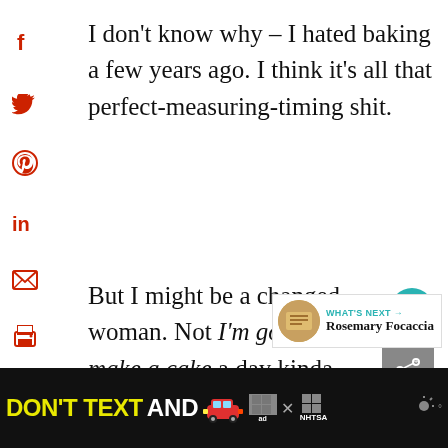I don't know why – I hated baking a few years ago. I think it's all that perfect-measuring-timing shit.
But I might be a changed woman. Not I'm going to make a cake a day kinda changed. But I do like the bread.
I'm most proud of my pizza dough –
[Figure (infographic): Social media sharing icons (Facebook, Twitter, Pinterest, LinkedIn, Email, Print) arranged vertically on left side of page]
[Figure (infographic): Heart/save button (teal circle with heart icon) and share button on right side]
[Figure (infographic): WHAT'S NEXT widget showing Rosemary Focaccia]
[Figure (infographic): DON'T TEXT AND [car emoji] advertisement banner by NHTSA at bottom of page]